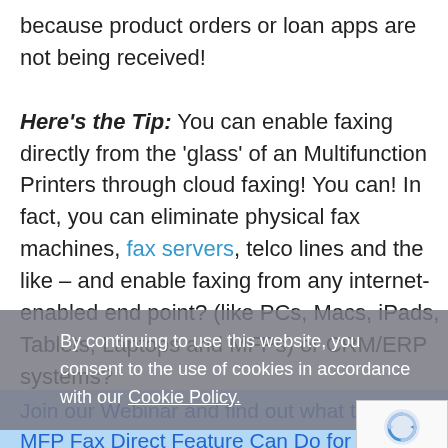because product orders or loan apps are not being received!
Here's the Tip: You can enable faxing directly from the 'glass' of an Multifunction Printers through cloud faxing! You can! In fact, you can eliminate physical fax machines, fax servers, telco lines and the like – and enable faxing from any internet-enabled end point? (like PCs, Macs, iPads, Tablets, Laptops and MFPs) or CRM/ERP systems?
You can with eFax Corporate®!
By continuing to use this website, you consent to the use of cookies in accordance with our Cookie Policy.
Join our Webinar and find out what the eFax Corporate MFP Fax Direct Feature Can Do for Your Organization